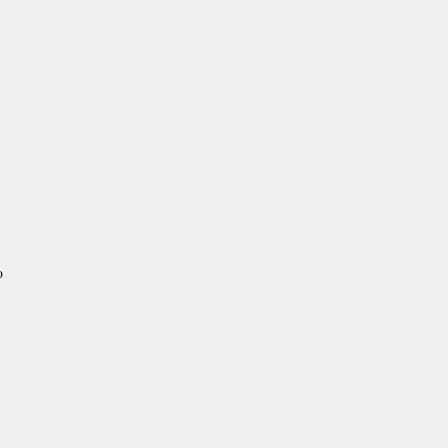and specifically and in respect to entry or payment, the reasons for shall pay the full amount of the d deemed to be finally abandoned a person who filed such notice or p respect to each protest. Such fee the protest in connection with wh such fea shall be refunded to the appropriation for the refund to in to recovery or refund under prote precedent to the validity of the p refund thereunder, and a vio
ACT OF 1922. SEC. 515. SA charges the collector shall within whole or in part and thereafter re or pay any drawback found due, against which protest may be file conditions as against the original original decision, or, upon the fil forthwith transmit the entry and t Board of General Appraisers for